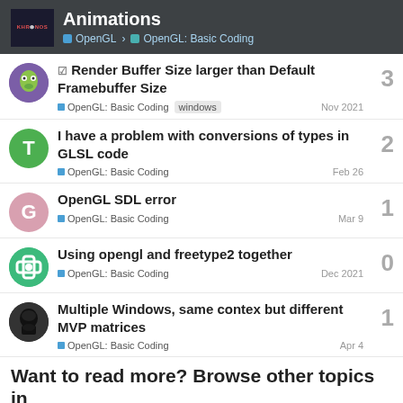Animations — OpenGL › OpenGL: Basic Coding
Render Buffer Size larger than Default Framebuffer Size | OpenGL: Basic Coding | windows | Nov 2021 | 3 replies
I have a problem with conversions of types in GLSL code | OpenGL: Basic Coding | Feb 26 | 2 replies
OpenGL SDL error | OpenGL: Basic Coding | Mar 9 | 1 reply
Using opengl and freetype2 together | OpenGL: Basic Coding | Dec 2021 | 0 replies
Multiple Windows, same contex but different MVP matrices | OpenGL: Basic Coding | Apr 4 | 1 reply
Want to read more? Browse other topics in...